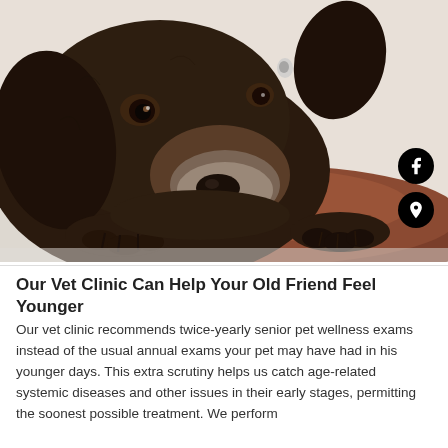[Figure (photo): A chocolate Labrador Retriever dog lying on a brown dog bed, resting its chin on the cushion with both front paws extended. The dog has soulful brown eyes and a greying muzzle, suggesting it is an older dog. The background is white.]
Our Vet Clinic Can Help Your Old Friend Feel Younger
Our vet clinic recommends twice-yearly senior pet wellness exams instead of the usual annual exams your pet may have had in his younger days. This extra scrutiny helps us catch age-related systemic diseases and other issues in their early stages, permitting the soonest possible treatment. We perform